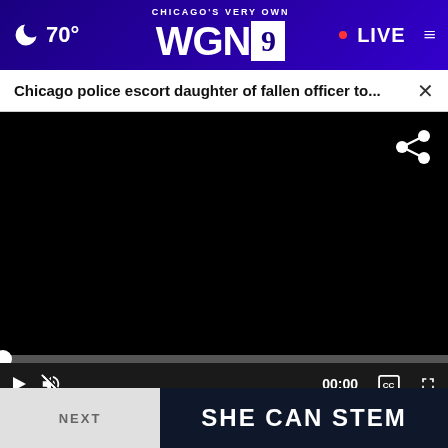70° CHICAGO'S VERY OWN WGN9 LIVE
Chicago police escort daughter of fallen officer to...
[Figure (screenshot): WGN9 news website video player screenshot showing a black video area with share icon, playback controls (play button, mute, timestamp 00:00, captions, fullscreen), a survey with radio button option 'I'm not sure' and 'Other / No opinion', a close button, and a 'SHE CAN STEM' advertisement banner at bottom]
I'm not sure
Other / No opinion
SHE CAN STEM
NEXT